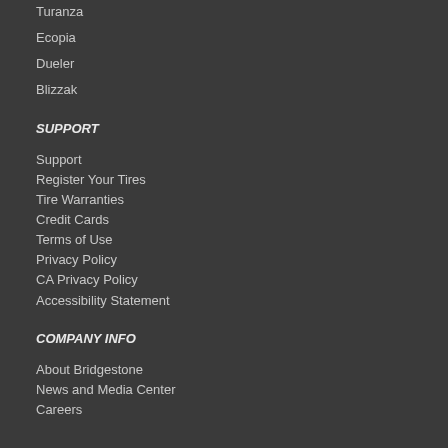Turanza
Ecopia
Dueler
Blizzak
SUPPORT
Support
Register Your Tires
Tire Warranties
Credit Cards
Terms of Use
Privacy Policy
CA Privacy Policy
Accessibility Statement
COMPANY INFO
About Bridgestone
News and Media Center
Careers